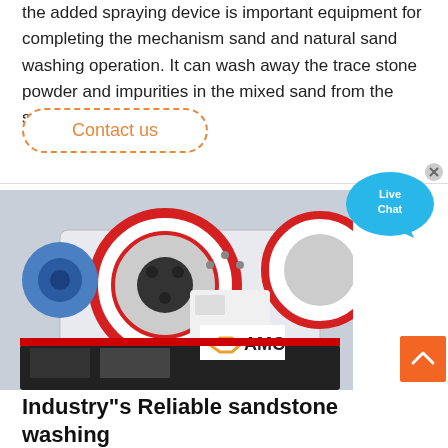the added spraying device is important equipment for completing the mechanism sand and natural sand washing operation. It can wash away the trace stone powder and impurities in the mixed sand from the sand making machine.
Contact us
[Figure (photo): Industrial jaw crusher machine with red circular flywheels, blue motor, and AMC brand logo visible on white body. Machine is photographed in an industrial/factory setting.]
[Figure (illustration): Live Chat button: blue speech bubble with 'Live Chat' text and a small x close button in top-right corner.]
Industry"s Reliable sandstone washing